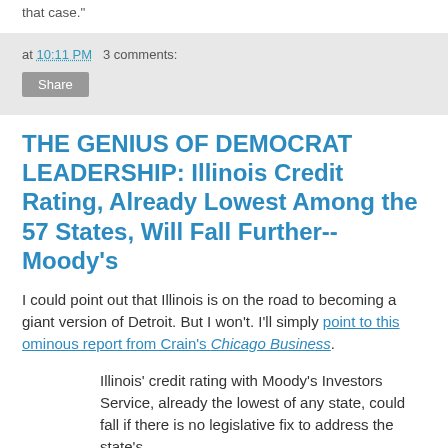that case."
at 10:11 PM   3 comments:
Share
THE GENIUS OF DEMOCRAT LEADERSHIP: Illinois Credit Rating, Already Lowest Among the 57 States, Will Fall Further--Moody's
I could point out that Illinois is on the road to becoming a giant version of Detroit. But I won't. I'll simply point to this ominous report from Crain's Chicago Business.
Illinois' credit rating with Moody's Investors Service, already the lowest of any state, could fall if there is no legislative fix to address the state's